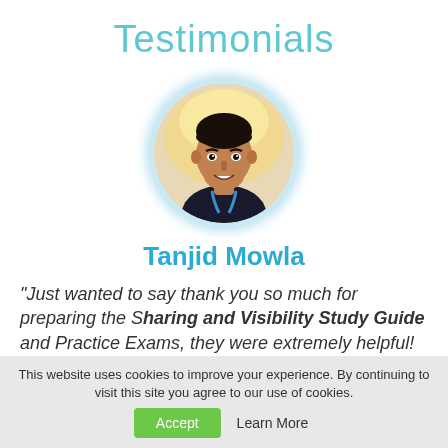Testimonials
[Figure (photo): Circular profile photo of Tanjid Mowla, a young man smiling, with a light outdoor background]
Tanjid Mowla
"Just wanted to say thank you so much for preparing the Sharing and Visibility Study Guide and Practice Exams, they were extremely helpful! Keep up the great work!"
This website uses cookies to improve your experience. By continuing to visit this site you agree to our use of cookies.